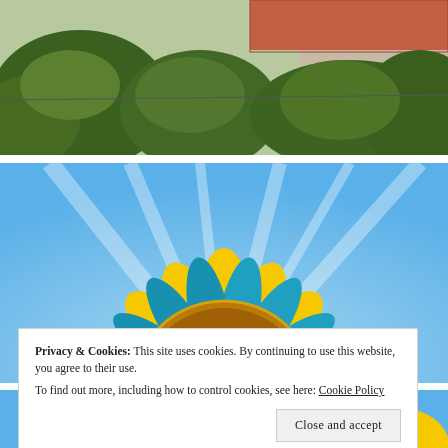[Figure (photo): Partial view of trees and a building rooftop with terracotta tiles, cropped at top]
[Figure (photo): Close-up of a sunflower with yellow and blue/teal petals against a bright sky background]
Privacy & Cookies: This site uses cookies. By continuing to use this website, you agree to their use.
To find out more, including how to control cookies, see here: Cookie Policy
[Figure (photo): Partial bottom portion of another sunflower image with yellow and blue petals]